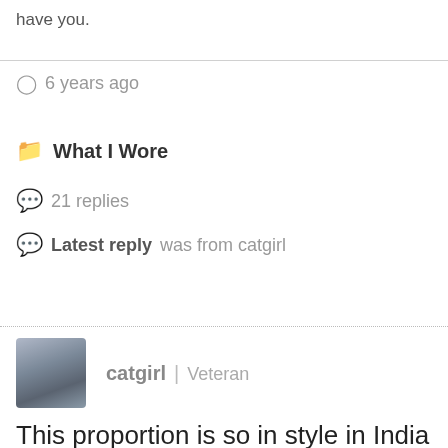have you.
🕐 6 years ago
📁 What I Wore
💬 21 replies
💬 Latest reply was from catgirl
catgirl | Veteran
This proportion is so in style in India right now! I love it.